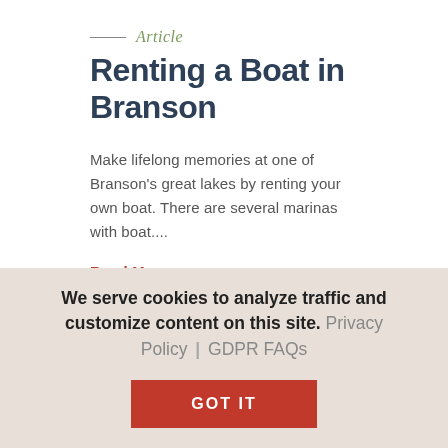Article
Renting a Boat in Branson
Make lifelong memories at one of Branson's great lakes by renting your own boat. There are several marinas with boat....
Read More →
[Figure (screenshot): Partial dark image visible below the divider line, mostly black/dark, partially cropped by the cookie overlay.]
We serve cookies to analyze traffic and customize content on this site. Privacy Policy | GDPR FAQs
GOT IT